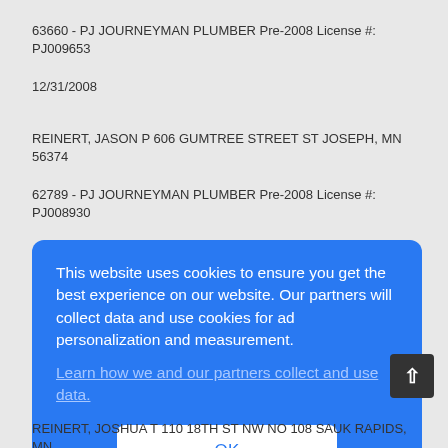63660 - PJ JOURNEYMAN PLUMBER Pre-2008 License #: PJ009653
12/31/2008
REINERT, JASON P 606 GUMTREE STREET ST JOSEPH, MN 56374
62789 - PJ JOURNEYMAN PLUMBER Pre-2008 License #: PJ008930
This website uses cookies to ensure you get the best experience on our website. Our partners will collect data and use cookies for ad personalization and measurement. Learn how we and our partners collect and use data. OK
REINERT, JOSHUA T 110 18TH ST NW NO 108 SAUK RAPIDS, MN